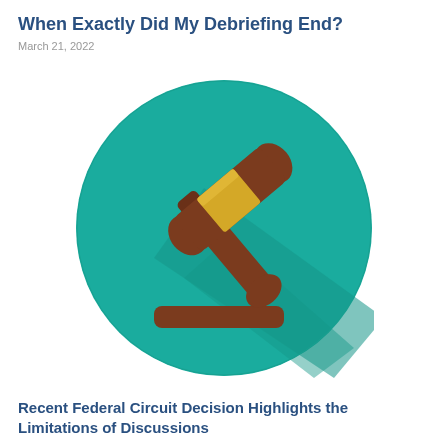When Exactly Did My Debriefing End?
March 21, 2022
[Figure (illustration): A flat-design illustration of a judge's gavel (brown wooden mallet with gold band, and a sound block) centered on a teal/turquoise circular background with a shadow effect.]
Recent Federal Circuit Decision Highlights the Limitations of Discussions